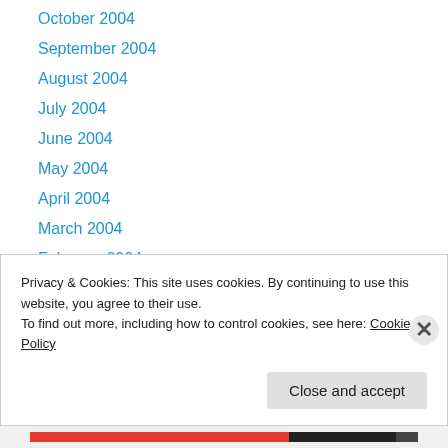October 2004
September 2004
August 2004
July 2004
June 2004
May 2004
April 2004
March 2004
February 2004
January 2004
December 2003
November 2003
October 2003
Privacy & Cookies: This site uses cookies. By continuing to use this website, you agree to their use. To find out more, including how to control cookies, see here: Cookie Policy
Close and accept